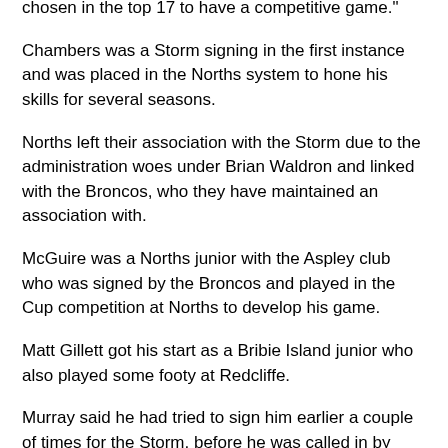chosen in the top 17 to have a competitive game."
Chambers was a Storm signing in the first instance and was placed in the Norths system to hone his skills for several seasons.
Norths left their association with the Storm due to the administration woes under Brian Waldron and linked with the Broncos, who they have maintained an association with.
McGuire was a Norths junior with the Aspley club who was signed by the Broncos and played in the Cup competition at Norths to develop his game.
Matt Gillett got his start as a Bribie Island junior who also played some footy at Redcliffe.
Murray said he had tried to sign him earlier a couple of times for the Storm, before he was called in by Griffin to the Broncos Under